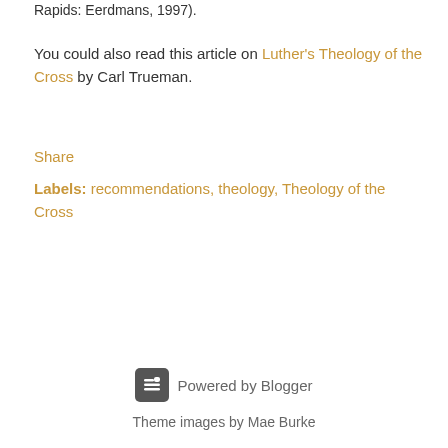Rapids: Eerdmans, 1997).
You could also read this article on Luther's Theology of the Cross by Carl Trueman.
Share
Labels: recommendations, theology, Theology of the Cross
Powered by Blogger
Theme images by Mae Burke